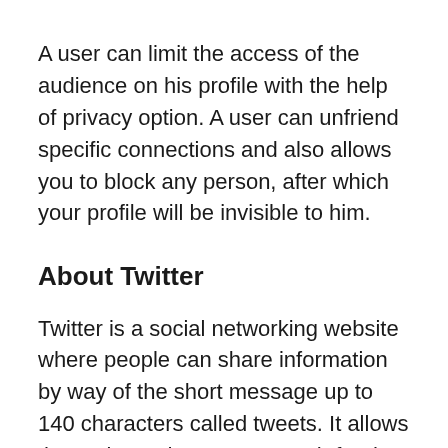A user can limit the access of the audience on his profile with the help of privacy option. A user can unfriend specific connections and also allows you to block any person, after which your profile will be invisible to him.
About Twitter
Twitter is a social networking website where people can share information by way of the short message up to 140 characters called tweets. It allows the registered users to search for the latest news on the topics they have an interest. You can follow any other